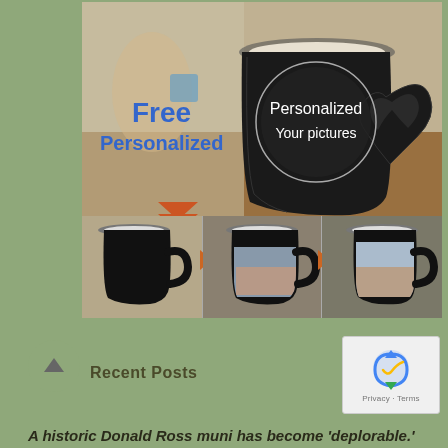[Figure (photo): Product advertisement image showing a black personalized mug with heart-shaped handle. Top half shows a large mug with text 'Free Personalized' in blue and a circle with white text 'Personalized Your pictures'. Bottom half shows three mugs side by side demonstrating the heat-change effect from plain black to revealing a group photo.]
Recent Posts
[Figure (other): reCAPTCHA badge with Google reCAPTCHA logo, Privacy and Terms links]
A historic Donald Ross muni has become 'deplorable.'